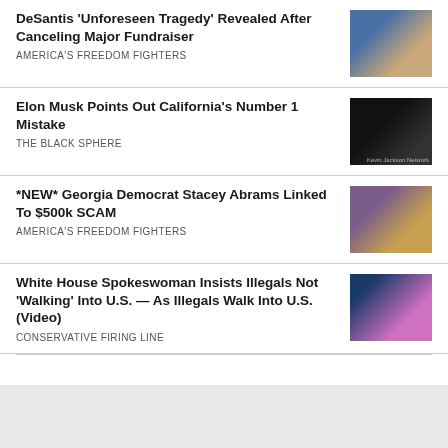DeSantis ‘Unforeseen Tragedy’ Revealed After Canceling Major Fundraiser
AMERICA’S FREEDOM FIGHTERS
[Figure (photo): Photo of Ron DeSantis in a suit]
Elon Musk Points Out California’s Number 1 Mistake
THE BLACK SPHERE
[Figure (photo): Photo of Elon Musk pointing, dark background with Kevin Jackson Network watermark]
*NEW* Georgia Democrat Stacey Abrams Linked To $500k SCAM
AMERICA’S FREEDOM FIGHTERS
[Figure (photo): Photo of Stacey Abrams with money overlay]
White House Spokeswoman Insists Illegals Not ‘Walking’ Into U.S. — As Illegals Walk Into U.S. (Video)
CONSERVATIVE FIRING LINE
[Figure (photo): Photo of White House spokesperson in pink jacket with US flag in background]